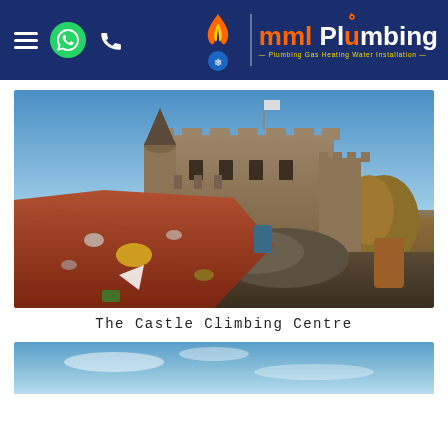MML Plumbing — Plumbing Gas Heating Water Installation
[Figure (photo): Photograph of The Castle Climbing Centre — a Victorian gothic castle building with towers and battlements, with colourful climbing wall holds in the foreground on a sunny day with blue sky.]
The Castle Climbing Centre
[Figure (photo): Partial view of a second photo showing blue sky at the bottom of the page.]